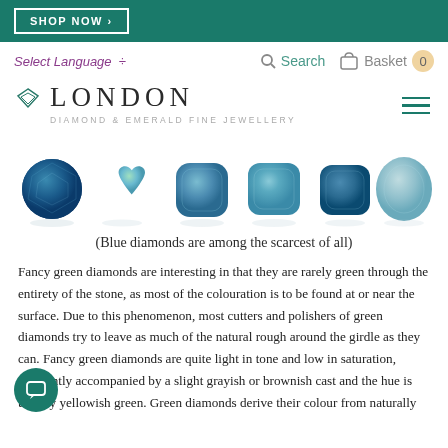SHOP NOW ›
Select Language ÷   Search   Basket  0
♦ LONDON
DIAMOND & EMERALD FINE JEWELLERY
[Figure (photo): Six fancy blue and green diamonds of various cuts displayed in a row on a white background with reflections]
(Blue diamonds are among the scarcest of all)
Fancy green diamonds are interesting in that they are rarely green through the entirety of the stone, as most of the colouration is to be found at or near the surface. Due to this phenomenon, most cutters and polishers of green diamonds try to leave as much of the natural rough around the girdle as they can. Fancy green diamonds are quite light in tone and low in saturation, frequently accompanied by a slight grayish or brownish cast and the hue is usually yellowish green. Green diamonds derive their colour from naturally